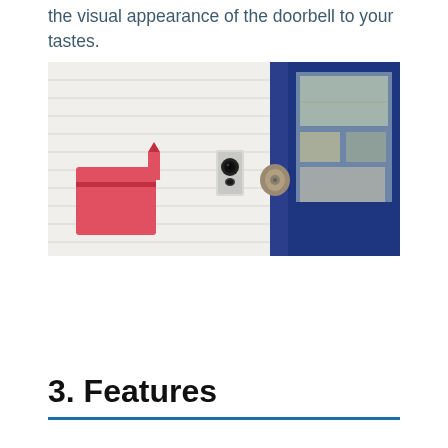the visual appearance of the doorbell to your tastes.
[Figure (photo): Photo of a Ring doorbell camera mounted on a white exterior wall next to a blue front door, with a red mailbox visible to the left and a door lock with keyhole on the right.]
3. Features